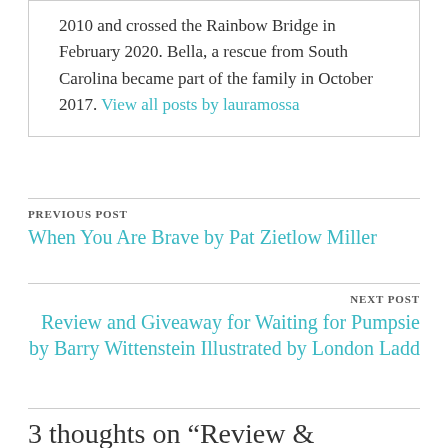2010 and crossed the Rainbow Bridge in February 2020. Bella, a rescue from South Carolina became part of the family in October 2017. View all posts by lauramossa
PREVIOUS POST
When You Are Brave by Pat Zietlow Miller
NEXT POST
Review and Giveaway for Waiting for Pumpsie by Barry Wittenstein Illustrated by London Ladd
3 thoughts on “Review & Giveaway